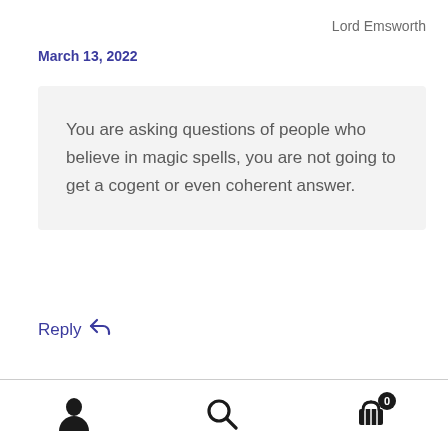Lord Emsworth
March 13, 2022
You are asking questions of people who believe in magic spells, you are not going to get a cogent or even coherent answer.
Reply ↩
User icon | Search icon | Cart icon with badge 0